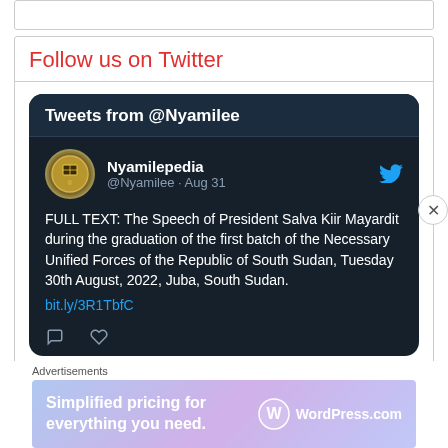Follow us on Twitter
[Figure (screenshot): Twitter widget screenshot showing 'Tweets from @Nyamilee' with a tweet from Nyamilepedia (@Nyamilee) dated Aug 31, containing text about the full text of President Salva Kiir Mayardit's speech during the graduation of the first batch of the Necessary Unified Forces of the Republic of South Sudan, Tuesday 30th August, 2022, Juba, South Sudan. With link bit.ly/3R1TbfC]
Advertisements
[Figure (infographic): WordPress.com advertisement banner: 'Simplified pricing for everything you need.' with WordPress.com logo]